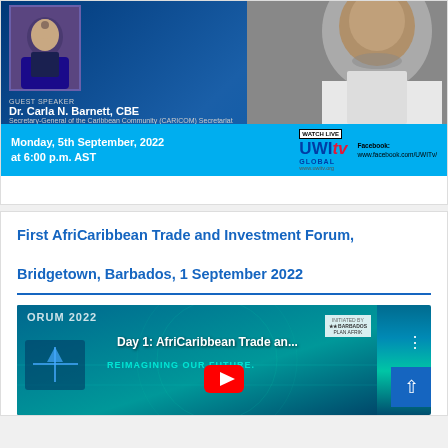[Figure (photo): Event promotional banner for UWI lecture featuring Dr. Carla N. Barnett CBE, Secretary-General of the Caribbean Community (CARICOM) Secretariat. Monday, 5th September, 2022 at 6:00 p.m. AST. Watch Live on UWITv Global, www.uwitv.org, Facebook: www.facebook.com/UWITv/]
First AfriCaribbean Trade and Investment Forum, Bridgetown, Barbados, 1 September 2022
[Figure (screenshot): YouTube video thumbnail for 'Day 1: AfriCaribbean Trade an...' from a forum 2022 event with 'REIMAGINING OUR FUTURE.' subtitle and YouTube play button visible.]